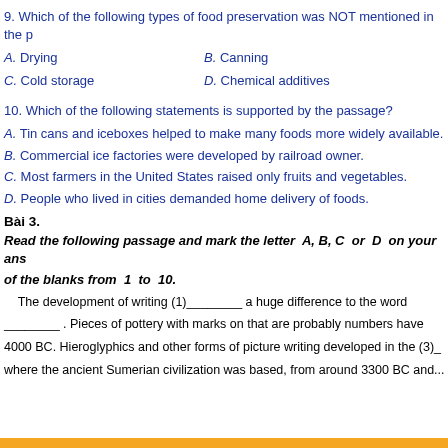9. Which of the following types of food preservation was NOT mentioned in the p
A. Drying   B. Canning
C. Cold storage   D. Chemical additives
10. Which of the following statements is supported by the passage?
A. Tin cans and iceboxes helped to make many foods more widely available.
B. Commercial ice factories were developed by railroad owner.
C. Most farmers in the United States raised only fruits and vegetables.
D. People who lived in cities demanded home delivery of foods.
Bài 3.
Read the following passage and mark the letter A, B, C or D on your answer sheet to indicate the correct word or phrase that best fits each of the blanks from 1 to 10.
The development of writing (1)________ a huge difference to the word ________ . Pieces of pottery with marks on that are probably numbers have been found dating back to around 4000 BC. Hieroglyphics and other forms of picture writing developed in the (3)_ where the ancient Sumerian civilization was based, from around 3300 BC and...